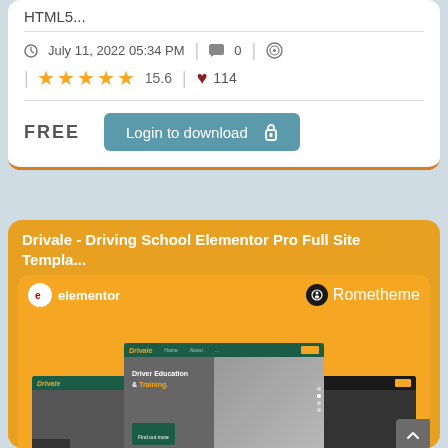HTML5...
July 11, 2022 05:34 PM  0
★★★★★ 15.6  ♥ 114
FREE  Login to download 🔒
Drivale - Driving School Elementor Pro Full Site Templa...
[Figure (screenshot): Screenshot of a driving school website template called Drivale showing Elementor and Rometheme branding on an orange background, with multiple page layout previews including a hero section reading 'Driver Education & Training.' and an 'About Us.' section]